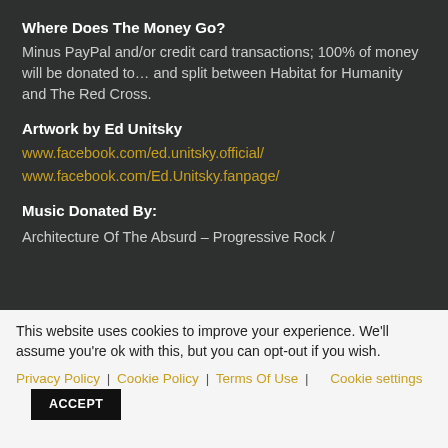Where Does The Money Go?
Minus PayPal and/or credit card transactions; 100% of money will be donated to… and split between Habitat for Humanity and The Red Cross.
Artwork by Ed Unitsky
www.facebook.com/ed.unitsky.official/
www.facebook.com/Ed.Unitsky.fanpage/
Music Donated By:
Architecture Of The Absurd – Progressive Rock /
This website uses cookies to improve your experience. We'll assume you're ok with this, but you can opt-out if you wish.
Privacy Policy | Cookie Policy | Terms Of Use | Cookie settings
ACCEPT